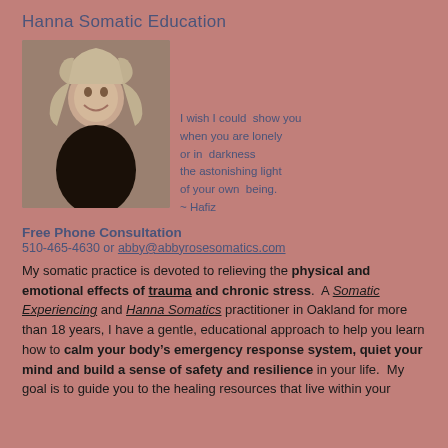Hanna Somatic Education
[Figure (photo): Portrait photo of a woman with curly light hair, smiling, wearing a dark top]
I wish I could show you when you are lonely or in darkness the astonishing light of your own being. ~ Hafiz
Free Phone Consultation
510-465-4630 or abby@abbyrosesomatics.com
My somatic practice is devoted to relieving the physical and emotional effects of trauma and chronic stress. A Somatic Experiencing and Hanna Somatics practitioner in Oakland for more than 18 years, I have a gentle, educational approach to help you learn how to calm your body’s emergency response system, quiet your mind and build a sense of safety and resilience in your life. My goal is to guide you to the healing resources that live within your